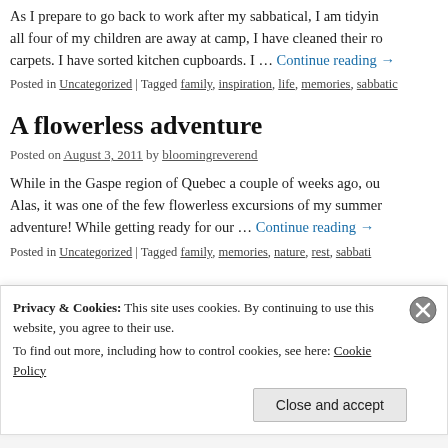As I prepare to go back to work after my sabbatical, I am tidying all four of my children are away at camp, I have cleaned their ro carpets. I have sorted kitchen cupboards. I … Continue reading →
Posted in Uncategorized | Tagged family, inspiration, life, memories, sabbatic
A flowerless adventure
Posted on August 3, 2011 by bloomingreverend
While in the Gaspe region of Quebec a couple of weeks ago, ou Alas, it was one of the few flowerless excursions of my summer adventure! While getting ready for our … Continue reading →
Posted in Uncategorized | Tagged family, memories, nature, rest, sabbati
Privacy & Cookies: This site uses cookies. By continuing to use this website, you agree to their use.
To find out more, including how to control cookies, see here: Cookie Policy
Close and accept